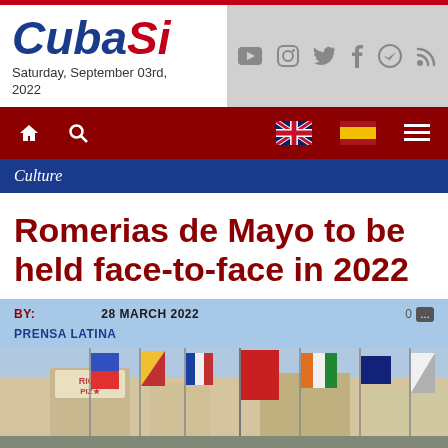CubaSi – Saturday, September 03rd, 2022
Culture
Romerias de Mayo to be held face-to-face in 2022
BY: PRENSA LATINA   28 MARCH 2022   0
[Figure (photo): Colorful flags from various nations displayed on a street, with buildings in the background, likely at the Romerias de Mayo festival in Holguin, Cuba.]